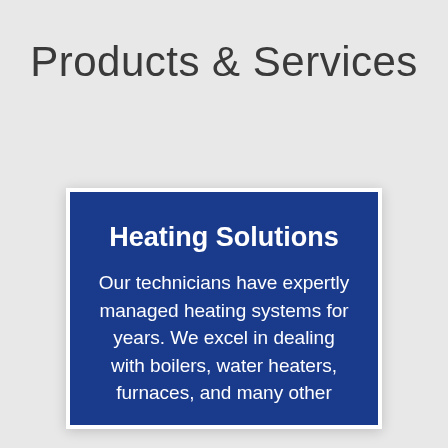Products & Services
Heating Solutions
Our technicians have expertly managed heating systems for years. We excel in dealing with boilers, water heaters, furnaces, and many other